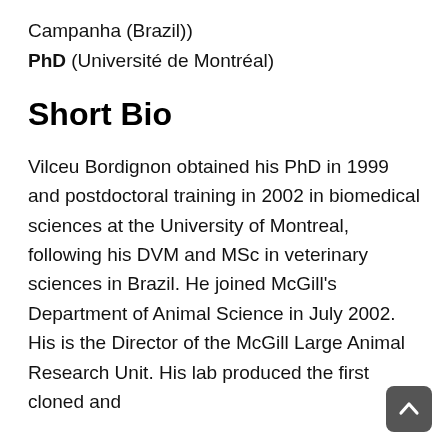Campanha (Brazil))
PhD (Université de Montréal)
Short Bio
Vilceu Bordignon obtained his PhD in 1999 and postdoctoral training in 2002 in biomedical sciences at the University of Montreal, following his DVM and MSc in veterinary sciences in Brazil. He joined McGill's Department of Animal Science in July 2002. His is the Director of the McGill Large Animal Research Unit. His lab produced the first cloned and